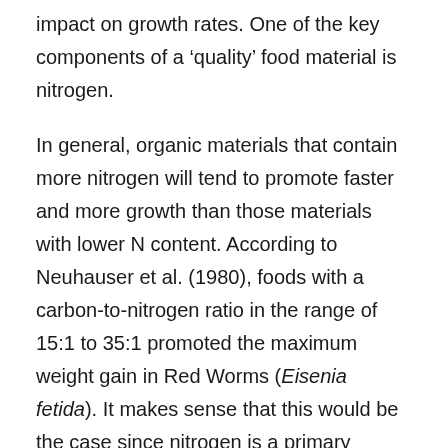impact on growth rates. One of the key components of a 'quality' food material is nitrogen.
In general, organic materials that contain more nitrogen will tend to promote faster and more growth than those materials with lower N content. According to Neuhauser et al. (1980), foods with a carbon-to-nitrogen ratio in the range of 15:1 to 35:1 promoted the maximum weight gain in Red Worms (Eisenia fetida). It makes sense that this would be the case since nitrogen is a primary component of amino acids (and thus proteins) – the vitally important 'building blocks' of life as we know it.